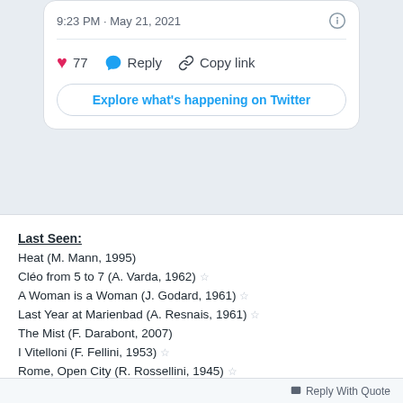9:23 PM · May 21, 2021
77  Reply  Copy link
Explore what's happening on Twitter
Last Seen:
Heat (M. Mann, 1995)
Cléo from 5 to 7 (A. Varda, 1962) ☆
A Woman is a Woman (J. Godard, 1961) ☆
Last Year at Marienbad (A. Resnais, 1961) ☆
The Mist (F. Darabont, 2007)
I Vitelloni (F. Fellini, 1953) ☆
Rome, Open City (R. Rossellini, 1945) ☆
RRR (S. S. Rajamouli, 2022) ☆
Everything Everywhere All at Once (Daniels, 2022) ☆
To Have and Have Not (H. Hawks, 1944) ☆
First time ☆
Reply With Quote